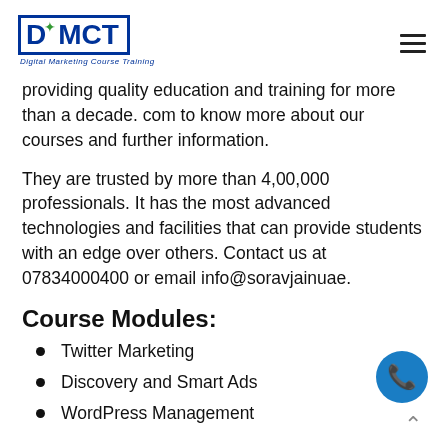DMCT Digital Marketing Course Training
providing quality education and training for more than a decade. com to know more about our courses and further information.
They are trusted by more than 4,00,000 professionals. It has the most advanced technologies and facilities that can provide students with an edge over others. Contact us at 07834000400 or email info@soravjainuae.
Course Modules:
Twitter Marketing
Discovery and Smart Ads
WordPress Management